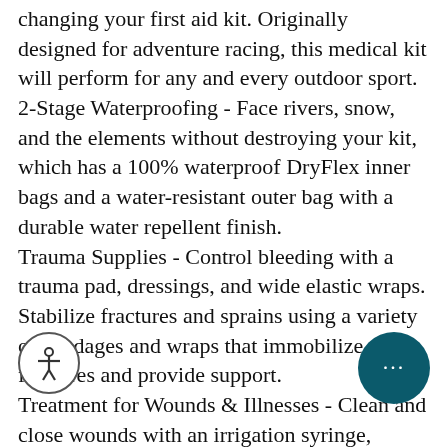changing your first aid kit. Originally designed for adventure racing, this medical kit will perform for any and every outdoor sport. 2-Stage Waterproofing - Face rivers, snow, and the elements without destroying your kit, which has a 100% waterproof DryFlex inner bags and a water-resistant outer bag with a durable water repellent finish. Trauma Supplies - Control bleeding with a trauma pad, dressings, and wide elastic wraps. Stabilize fractures and sprains using a variety of bandages and wraps that immobilize fractures and provide support. Treatment for Wounds & Illnesses - Clean and close wounds with an irrigation syringe, wound closure strips, sterile dressings, and a topical adhesive. Manage pain, illnesses, and allergies with a wide array of medications. Emergency Gear Repairs - Repair gear quickly on-the-go using the included safety pins and a mini roll of duct tape for temporary fixes until